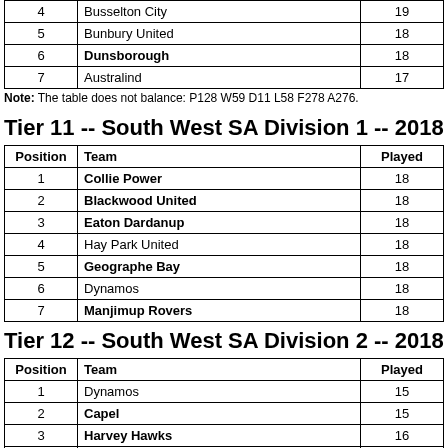| Position | Team | Played |
| --- | --- | --- |
| 4 | Busselton City | 19 |
| 5 | Bunbury United | 18 |
| 6 | Dunsborough | 18 |
| 7 | Australind | 17 |
Note: The table does not balance: P128 W59 D11 L58 F278 A276.
Tier 11 -- South West SA Division 1 -- 2018
| Position | Team | Played |
| --- | --- | --- |
| 1 | Collie Power | 18 |
| 2 | Blackwood United | 18 |
| 3 | Eaton Dardanup | 18 |
| 4 | Hay Park United | 18 |
| 5 | Geographe Bay | 18 |
| 6 | Dynamos | 18 |
| 7 | Manjimup Rovers | 18 |
Tier 12 -- South West SA Division 2 -- 2018
| Position | Team | Played |
| --- | --- | --- |
| 1 | Dynamos | 15 |
| 2 | Capel | 15 |
| 3 | Harvey Hawks | 16 |
| 4 | Bunbury United | 15 |
| 5 | Australind | 15 |